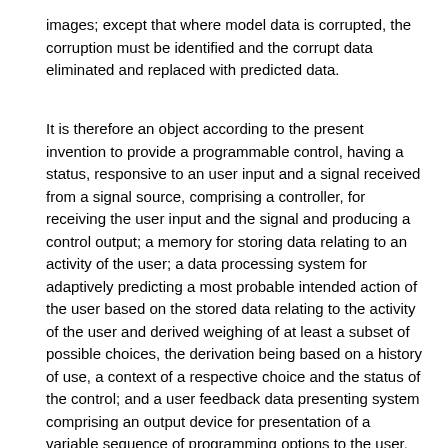images; except that where model data is corrupted, the corruption must be identified and the corrupt data eliminated and replaced with predicted data.
It is therefore an object according to the present invention to provide a programmable control, having a status, responsive to an user input and a signal received from a signal source, comprising a controller, for receiving the user input and the signal and producing a control output; a memory for storing data relating to an activity of the user; a data processing system for adaptively predicting a most probable intended action of the user based on the stored data relating to the activity of the user and derived weighing of at least a subset of possible choices, the derivation being based on a history of use, a context of a respective choice and the status of the control; and a user feedback data presenting system comprising an output device for presentation of a variable sequence of programming options to the user, including the most probable intended action of the user, in a plurality of output messages, the output messages differing in available programming options.